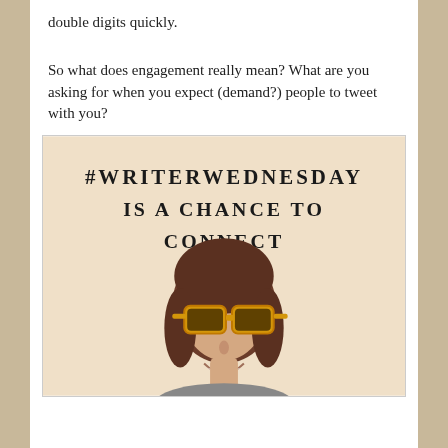double digits quickly.
So what does engagement really mean? What are you asking for when you expect (demand?) people to tweet with you?
[Figure (illustration): An image with bold uppercase text '#WRITERWEDNESDAY IS A CHANCE TO CONNECT' over a warm beige background, with a smiling woman wearing large yellow sunglasses below the text.]